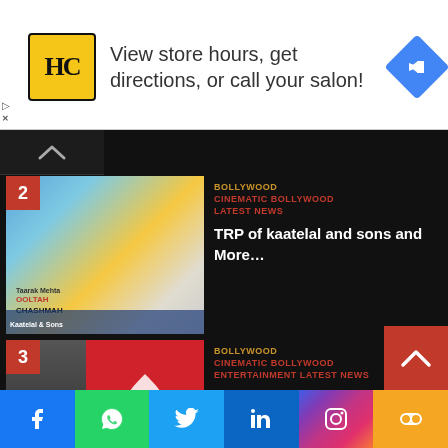[Figure (other): Advertisement banner for a hair salon (HC logo) with text 'View store hours, get directions, or call your salon!' and a Google Maps direction icon]
2 | BOLLYWOOD | CINEMATIC BOLLYWOOD | LATEST NEWS | TRP of kaatelal and sons and More…
3 | BOLLYWOOD | CINEMATIC BOLLYWOOD | ENTERTAINMENT | LATEST NEWS | Yash Raj Films to launch its own OTT platform and content?
[Figure (infographic): Social media share bar with Facebook, WhatsApp, Twitter, LinkedIn, Instagram, and more buttons]